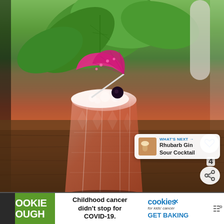[Figure (photo): A pink cocktail in a faceted rocks glass with a pink paper umbrella garnish and a dark cherry, sitting on a wooden surface with green tropical leaves in the background. UI overlays include a heart/like button, share button with count of 4, and a 'What's Next' card showing Rhubarb Gin Sour Cocktail.]
WHAT'S NEXT → Rhubarb Gin Sour Cocktail
COOKIE DOUGH  Childhood cancer didn't stop for COVID-19.  cookies for kids' cancer  GET BAKING